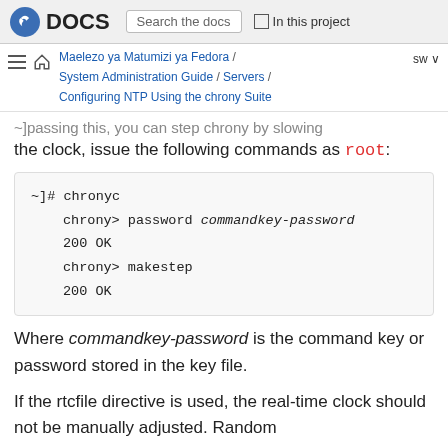Fedora DOCS | Search the docs | In this project
Maelezo ya Matumizi ya Fedora / System Administration Guide / Servers / Configuring NTP Using the chrony Suite | sw
…bypassing this, you can step chrony by slowing the clock, issue the following commands as root:
[Figure (screenshot): Code block showing chronyc session: ~]# chronyc, chrony> password commandkey-password, 200 OK, chrony> makestep, 200 OK]
Where commandkey-password is the command key or password stored in the key file.
If the rtcfile directive is used, the real-time clock should not be manually adjusted. Random